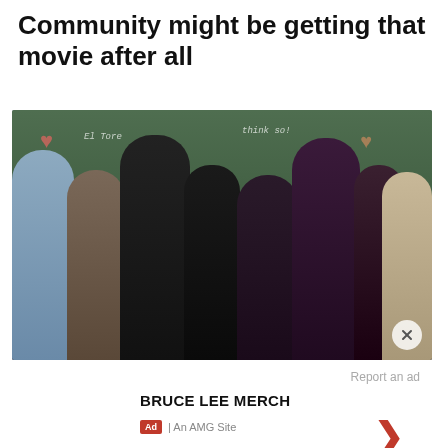Community might be getting that movie after all
[Figure (photo): Group photo of the cast of Community TV show, eight people posed together in front of a chalkboard with drawings and writing. Cast members include Ken Jeong, Danny Pudi, Gillian Jacobs, Joel McHale, Yvette Nicole Brown, Alison Brie, Donald Glover, and Chevy Chase.]
Report an ad
BRUCE LEE MERCH
Ad | An AMG Site